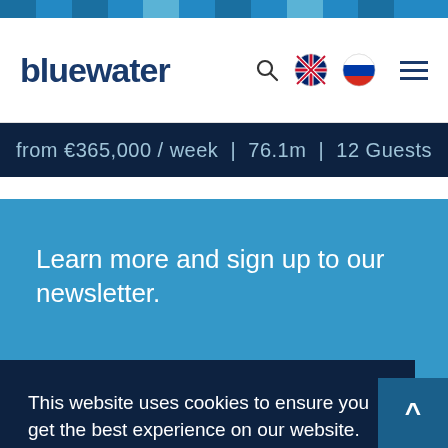[Figure (logo): Bluewater logo - company name in dark blue bold text]
from €365,000 / week  |  76.1m  |  12 Guests
Learn more and sign up to our newsletter.
This website uses cookies to ensure you get the best experience on our website.
Learn more
Got it!